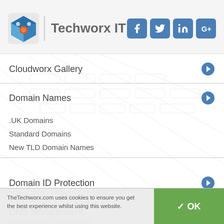Techworx IT
Cloudworx Gallery
Domain Names
.UK Domains
Standard Domains
New TLD Domain Names
Domain ID Protection
DNS Management
Web Hosting
TheTechworx.com uses cookies to ensure you get the best experience whilst using this website.
Joomla Optimised Hosting